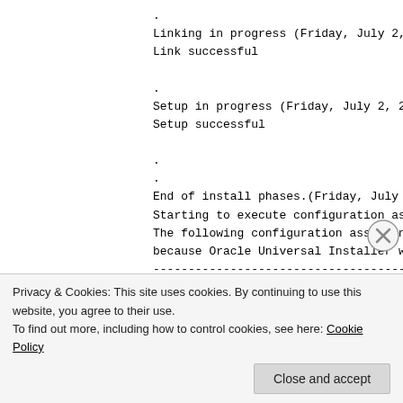.
Linking in progress (Friday, July 2, 201...
Link successful
.
Setup in progress (Friday, July 2, 2010...
Setup successful
.
.
End of install phases.(Friday, July 2, 2...
Starting to execute configuration assist...
The following configuration assistants h...
because Oracle Universal Installer was i...
----------------------------------------
The "/oracle/db/11.2.0.1_test/cfgtoollog...
contains all commands that failed, were ...
file may be used to run these configurat...
that you may have to update this scri...
Privacy & Cookies: This site uses cookies. By continuing to use this website, you agree to their use.
To find out more, including how to control cookies, see here: Cookie Policy
Close and accept